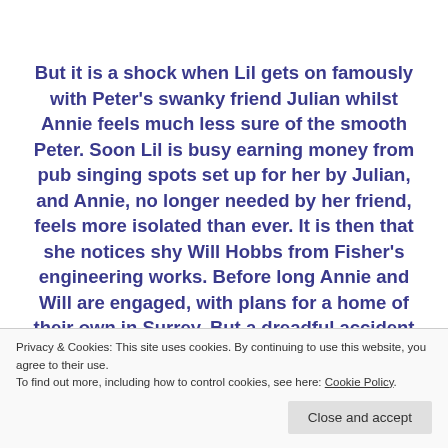But it is a shock when Lil gets on famously with Peter's swanky friend Julian whilst Annie feels much less sure of the smooth Peter. Soon Lil is busy earning money from pub singing spots set up for her by Julian, and Annie, no longer needed by her friend, feels more isolated than ever. It is then that she notices shy Will Hobbs from Fisher's engineering works. Before long Annie and Will are engaged, with plans for a home of their own in Surrey. But a dreadful accident at Fisher's and the looming shadow of World War II mean that life
Privacy & Cookies: This site uses cookies. By continuing to use this website, you agree to their use. To find out more, including how to control cookies, see here: Cookie Policy
Close and accept